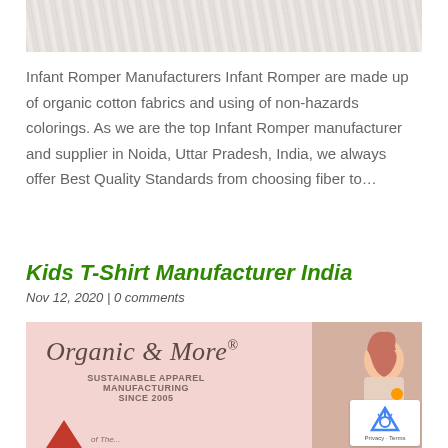[Figure (photo): Top portion of a fluffy white fur or fabric texture image, partially cropped]
Infant Romper Manufacturers Infant Romper are made up of organic cotton fabrics and using of non-hazards colorings. As we are the top Infant Romper manufacturer and supplier in Noida, Uttar Pradesh, India, we always offer Best Quality Standards from choosing fiber to…
Kids T-Shirt Manufacturer India
Nov 12, 2020 | 0 comments
[Figure (photo): Pink banner for 'Organic & More' brand showing a red-haired girl thinking, with text 'SUSTAINABLE APPAREL MANUFACTURING SINCE 2005' and a reCAPTCHA badge overlay]